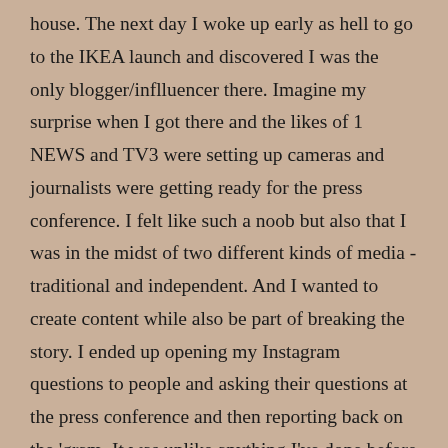house. The next day I woke up early as hell to go to the IKEA launch and discovered I was the only blogger/inflluencer there. Imagine my surprise when I got there and the likes of 1 NEWS and TV3 were setting up cameras and journalists were getting ready for the press conference. I felt like such a noob but also that I was in the midst of two different kinds of media - traditional and independent. And I wanted to create content while also be part of breaking the story. I ended up opening my Instagram questions to people and asking their questions at the press conference and then reporting back on the 'gram. It was unlike anything I've done before but goddamn was I in my element. It was such a strong way to start the year and all in all, this year has been filled with pinch me